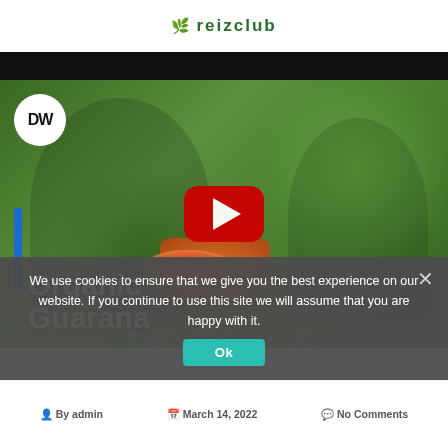REIZCLUB (website header with logo)
[Figure (screenshot): DW documentary video thumbnail showing two people in straw hats harvesting organic guarana berries in a lush green forest setting. The video title 'Organic Guarana' appears in large white bold text on the lower left, with a blue vertical accent bar. A red YouTube play button is centered on the image. The DW (Deutsche Welle) logo appears in the upper left corner.]
We use cookies to ensure that we give you the best experience on our website. If you continue to use this site we will assume that you are happy with it.
Ok
REIZCLUB
By admin   March 14, 2022   No Comments